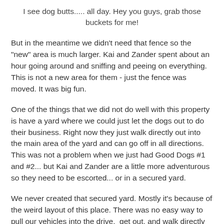I see dog butts..... all day. Hey you guys, grab those buckets for me!
But in the meantime we didn't need that fence so the "new" area is much larger. Kai and Zander spent about an hour going around and sniffing and peeing on everything. This is not a new area for them - just the fence was moved. It was big fun.
One of the things that we did not do well with this property is have a yard where we could just let the dogs out to do their business. Right now they just walk directly out into the main area of the yard and can go off in all directions. This was not a problem when we just had Good Dogs #1 and #2... but Kai and Zander are a little more adventurous so they need to be escorted... or in a secured yard.
We never created that secured yard. Mostly it's because of the weird layout of this place. There was no easy way to pull our vehicles into the drive,  get out, and walk directly into the house if there was a dog yard enclosing the house. There is